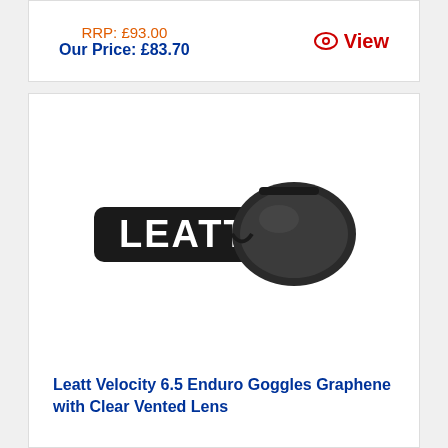RRP: £93.00
Our Price: £83.70
View
[Figure (photo): Leatt Velocity 6.5 Enduro Goggles in Graphene colorway with Clear Vented Lens. Black goggle frame with black/white Leatt branded strap.]
Leatt Velocity 6.5 Enduro Goggles Graphene with Clear Vented Lens